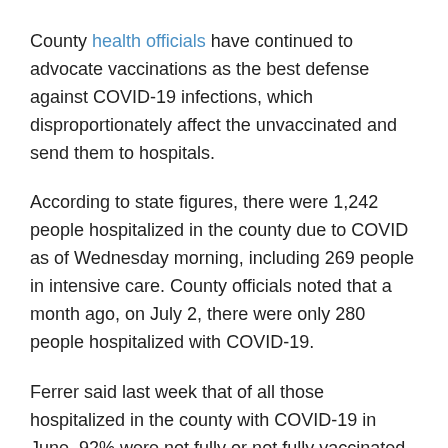County health officials have continued to advocate vaccinations as the best defense against COVID-19 infections, which disproportionately affect the unvaccinated and send them to hospitals.
According to state figures, there were 1,242 people hospitalized in the county due to COVID as of Wednesday morning, including 269 people in intensive care. County officials noted that a month ago, on July 2, there were only 280 people hospitalized with COVID-19.
Ferrer said last week that of all those hospitalized in the county with COVID-19 in June, 92% were not fully or not fully vaccinated. The figure was 95% in May. For the first 10 days of July – the most recent statistic available – the rate was 91%.